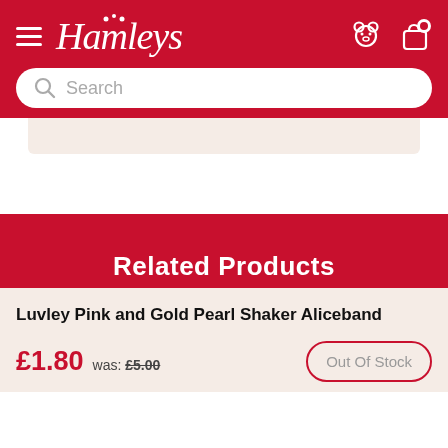Hamleys header with hamburger menu, logo, search bar
Related Products
Luvley Pink and Gold Pearl Shaker Aliceband
£1.80  was: £5.00  Out Of Stock